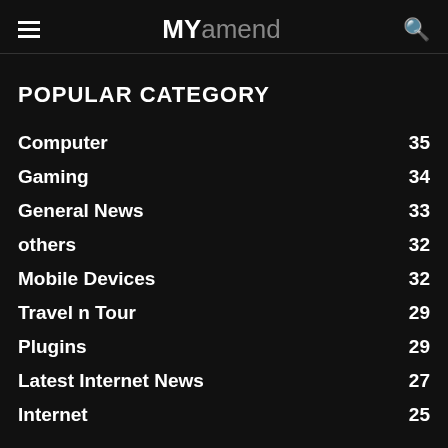MY amend
POPULAR CATEGORY
Computer 35
Gaming 34
General News 33
others 32
Mobile Devices 32
Travel n Tour 29
Plugins 29
Latest Internet News 27
Internet 25